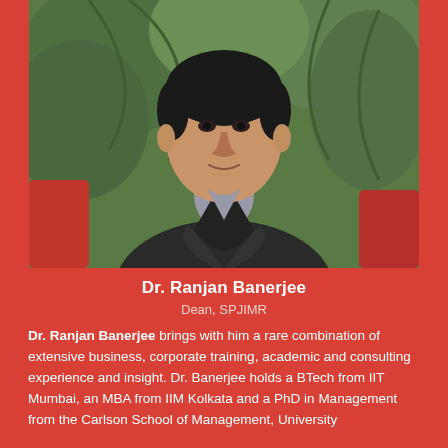[Figure (photo): Portrait photo of Dr. Ranjan Banerjee, a middle-aged man wearing a dark blazer over a grey shirt, seated in front of green tropical plants]
Dr. Ranjan Banerjee
Dean, SPJIMR
Dr. Ranjan Banerjee brings with him a rare combination of extensive business, corporate training, academic and consulting experience and insight. Dr. Banerjee holds a BTech from IIT Mumbai, an MBA from IIM Kolkata and a PhD in Management from the Carlson School of Management, University